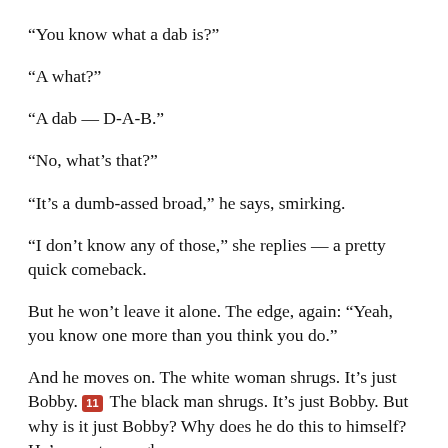“You know what a dab is?”
“A what?”
“A dab — D-A-B.”
“No, what’s that?”
“It’s a dumb-assed broad,” he says, smirking.
“I don’t know any of those,” she replies — a pretty quick comeback.
But he won’t leave it alone. The edge, again: “Yeah, you know one more than you think you do.”
And he moves on. The white woman shrugs. It’s just Bobby. [11] The black man shrugs. It’s just Bobby. But why is it just Bobby? Why does he do this to himself? He’s smart enough